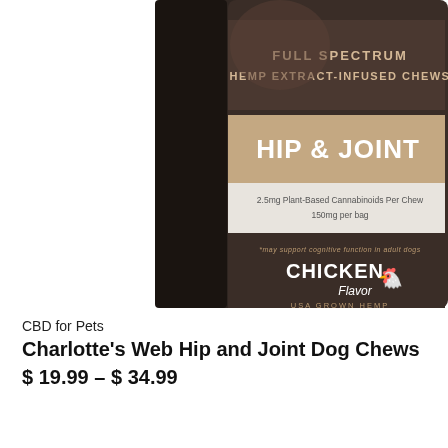[Figure (photo): Charlotte's Web Hip and Joint Dog Chews product package photo — dark brown bag with tan label showing 'FULL SPECTRUM HEMP EXTRACT-INFUSED CHEWS', 'HIP & JOINT', '2.5mg Plant-Based Cannabinoids Per Chew, 150mg per bag', 'CHICKEN Flavor', 'USA GROWN HEMP']
CBD for Pets
Charlotte's Web Hip and Joint Dog Chews
$ 19.99 – $ 34.99